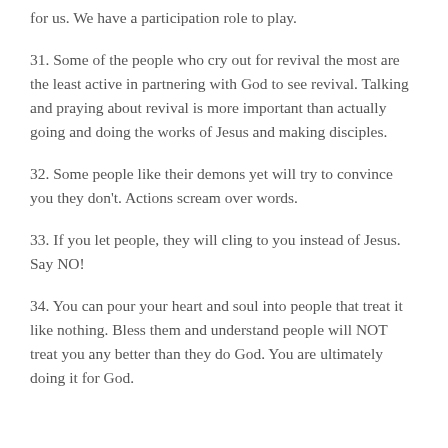for us. We have a participation role to play.
31. Some of the people who cry out for revival the most are the least active in partnering with God to see revival. Talking and praying about revival is more important than actually going and doing the works of Jesus and making disciples.
32. Some people like their demons yet will try to convince you they don't. Actions scream over words.
33. If you let people, they will cling to you instead of Jesus. Say NO!
34. You can pour your heart and soul into people that treat it like nothing. Bless them and understand people will NOT treat you any better than they do God. You are ultimately doing it for God.